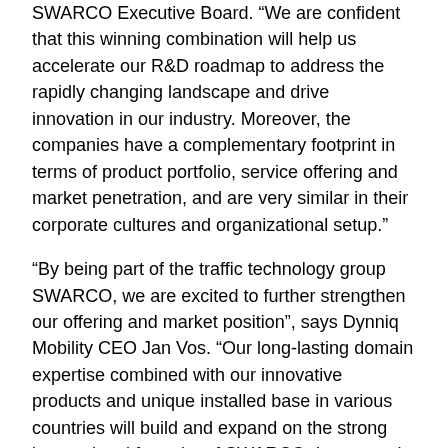SWARCO Executive Board. “We are confident that this winning combination will help us accelerate our R&D roadmap to address the rapidly changing landscape and drive innovation in our industry. Moreover, the companies have a complementary footprint in terms of product portfolio, service offering and market penetration, and are very similar in their corporate cultures and organizational setup.”
“By being part of the traffic technology group SWARCO, we are excited to further strengthen our offering and market position”, says Dynniq Mobility CEO Jan Vos. “Our long-lasting domain expertise combined with our innovative products and unique installed base in various countries will build and expand on the strong international footprint of SWARCO. I am proud of all that we have accomplished as Dynniq Mobility so far and I am looking forward to the journey ahead.”